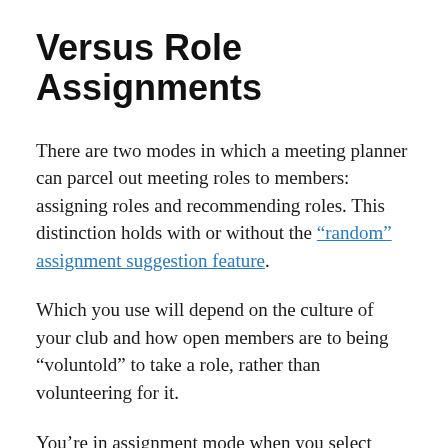Versus Role Assignments
There are two modes in which a meeting planner can parcel out meeting roles to members: assigning roles and recommending roles. This distinction holds with or without the “random” assignment suggestion feature.
Which you use will depend on the culture of your club and how open members are to being “voluntold” to take a role, rather than volunteering for it.
You’re in assignment mode when you select either Edit Signups or Assign from the menu. The Assign option is a shortcut to turning on